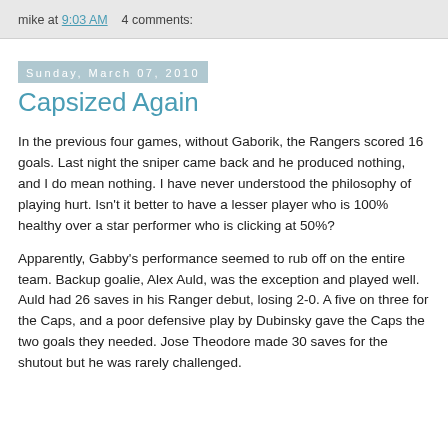mike at 9:03 AM    4 comments:
Sunday, March 07, 2010
Capsized Again
In the previous four games, without Gaborik, the Rangers scored 16 goals. Last night the sniper came back and he produced nothing, and I do mean nothing. I have never understood the philosophy of playing hurt. Isn't it better to have a lesser player who is 100% healthy over a star performer who is clicking at 50%?
Apparently, Gabby's performance seemed to rub off on the entire team. Backup goalie, Alex Auld, was the exception and played well. Auld had 26 saves in his Ranger debut, losing 2-0. A five on three for the Caps, and a poor defensive play by Dubinsky gave the Caps the two goals they needed. Jose Theodore made 30 saves for the shutout but he was rarely challenged.